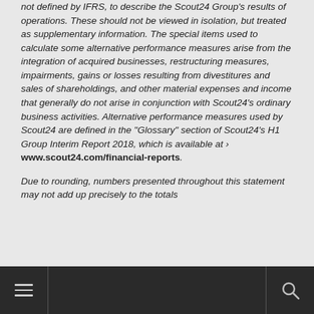not defined by IFRS, to describe the Scout24 Group's results of operations. These should not be viewed in isolation, but treated as supplementary information. The special items used to calculate some alternative performance measures arise from the integration of acquired businesses, restructuring measures, impairments, gains or losses resulting from divestitures and sales of shareholdings, and other material expenses and income that generally do not arise in conjunction with Scout24's ordinary business activities. Alternative performance measures used by Scout24 are defined in the "Glossary" section of Scout24's H1 Group Interim Report 2018, which is available at > www.scout24.com/financial-reports.
Due to rounding, numbers presented throughout this statement may not add up precisely to the totals